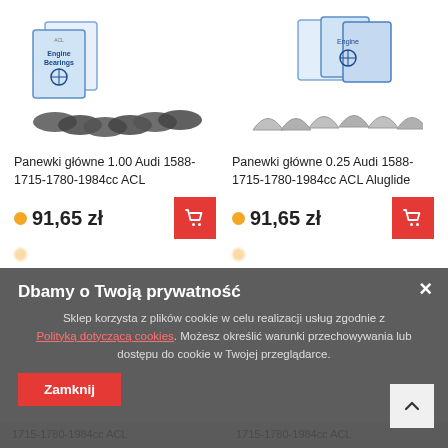[Figure (photo): Product photo: Panewki główne 1.00 Audi engine bearings with ACL packaging boxes and bearing shells]
[Figure (photo): Product photo: Panewki główne 0.25 Audi engine bearings with ACL Aluglide packaging and bearing shells]
Panewki główne 1.00 Audi 1588-1715-1780-1984cc ACL
Panewki główne 0.25 Audi 1588-1715-1780-1984cc ACL Aluglide
91,65 zł
91,65 zł
Dbamy o Twoją prywatność
Sklep korzysta z plików cookie w celu realizacji usług zgodnie z Polityką dotyczącą cookies. Możesz określić warunki przechowywania lub dostępu do cookie w Twojej przeglądarce.
Zamknij
1715-1780-1984cc ACL
1715-1780-1984cc ACL